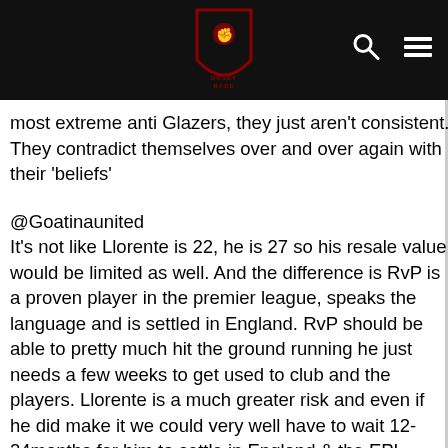[Site logo with search and menu icons]
most extreme anti Glazers, they just aren't consistent. They contradict themselves over and over again with their 'beliefs'
@Goatinaunited
It's not like Llorente is 22, he is 27 so his resale value would be limited as well. And the difference is RvP is a proven player in the premier league, speaks the language and is settled in England. RvP should be able to pretty much hit the ground running he just needs a few weeks to get used to club and the players. Llorente is a much greater risk and even if he did make it we could very well have to wait 12-24months for him to settle in England & the EPL